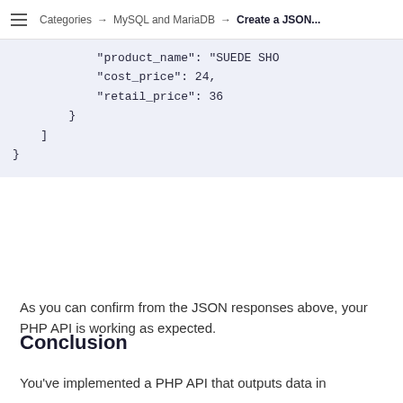Categories → MySQL and MariaDB → Create a JSON...
"product_name": "SUEDE SHO
            "cost_price": 24,
            "retail_price": 36
        }
    ]
}
As you can confirm from the JSON responses above, your PHP API is working as expected.
Conclusion
You've implemented a PHP API that outputs data in